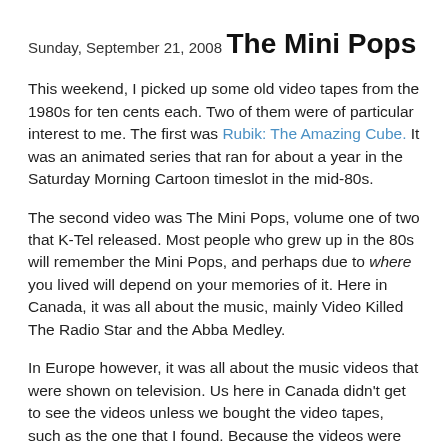Sunday, September 21, 2008
The Mini Pops
This weekend, I picked up some old video tapes from the 1980s for ten cents each. Two of them were of particular interest to me. The first was Rubik: The Amazing Cube. It was an animated series that ran for about a year in the Saturday Morning Cartoon timeslot in the mid-80s.
The second video was The Mini Pops, volume one of two that K-Tel released. Most people who grew up in the 80s will remember the Mini Pops, and perhaps due to where you lived will depend on your memories of it. Here in Canada, it was all about the music, mainly Video Killed The Radio Star and the Abba Medley.
In Europe however, it was all about the music videos that were shown on television. Us here in Canada didn't get to see the videos unless we bought the video tapes, such as the one that I found. Because the videos were not as popular there, and in Canada helped contribute to the